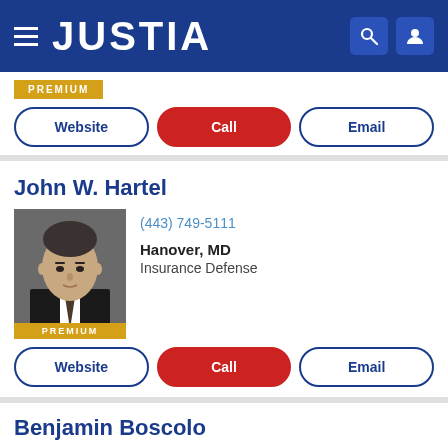JUSTIA
[Figure (other): PREMIUM badge (gold/yellow background)]
Website | Call | Email (buttons)
John W. Hartel
[Figure (photo): Headshot of attorney John W. Hartel in dark suit, professional photo with PREMIUM badge overlay]
(443) 749-5111
Hanover, MD
Insurance Defense
Website | Call | Email (buttons)
Benjamin Boscolo
[Figure (photo): Partial headshot of attorney Benjamin Boscolo, bald man in suit with red tie]
(888) 591-4008
Falls Church, VA, VA